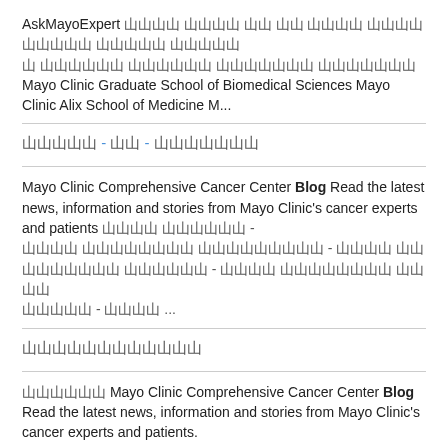AskMayoExpert [non-latin text] Mayo Clinic Graduate School of Biomedical Sciences Mayo Clinic Alix School of Medicine M...
[non-latin] - [non-latin] - [non-latin]
Mayo Clinic Comprehensive Cancer Center Blog Read the latest news, information and stories from Mayo Clinic's cancer experts and patients [non-latin text]...
[non-latin]
[non-latin] Mayo Clinic Comprehensive Cancer Center Blog Read the latest news, information and stories from Mayo Clinic's cancer experts and patients.